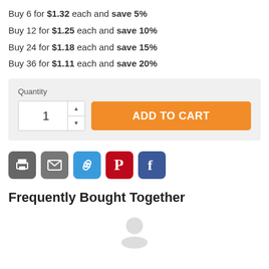Buy 6 for $1.32 each and save 5%
Buy 12 for $1.25 each and save 10%
Buy 24 for $1.18 each and save 15%
Buy 36 for $1.11 each and save 20%
Quantity: 1 | ADD TO CART button
[Figure (infographic): Social share icons: print, email, link, pinterest, facebook]
Frequently Bought Together